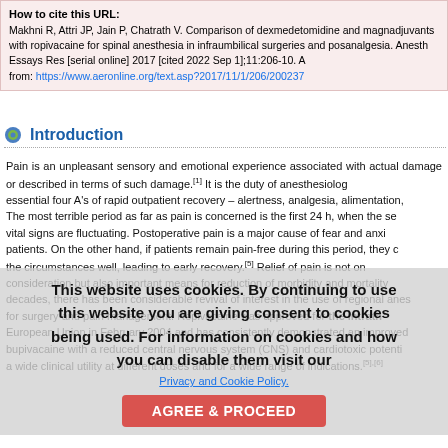How to cite this URL:
Makhni R, Attri JP, Jain P, Chatrath V. Comparison of dexmedetomidine and magnesium as adjuvants with ropivacaine for spinal anesthesia in infraumbilical surgeries and postoperative analgesia. Anesth Essays Res [serial online] 2017 [cited 2022 Sep 1];11:206-10. Available from: https://www.aeronline.org/text.asp?2017/11/1/206/200237
Introduction
Pain is an unpleasant sensory and emotional experience associated with actual damage or described in terms of such damage.[1] It is the duty of anesthesiologist essential four A's of rapid outpatient recovery – alertness, analgesia, alimentation, The most terrible period as far as pain is concerned is the first 24 h, when the se vital signs are fluctuating. Postoperative pain is a major cause of fear and anxi patients. On the other hand, if patients remain pain-free during this period, they c the circumstances well, leading to early recovery.[5] Relief of pain is not on consideration but also important means for reduction of morbidity and mortality decades, there has been considerable revival of interest in the use of regional anes for surgery and pain management. Ropivacaine was approved for the intrath European Union in February 2004 and has consistently demonstrated an improved bupivacaine with a reduced central nervous system (CNS) and cardiotoxic potenti a wide clinical utility at different doses and for a wide range of indications.[5],[6]